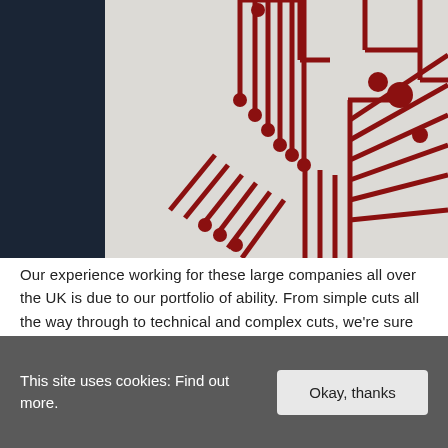[Figure (circuit-diagram): Close-up photo of a dark red/maroon circuit board trace pattern on a white background, with a dark navy panel on the left side. Shows intricate PCB routing lines with solder pads/nodes arranged in parallel diagonal and right-angle patterns.]
Our experience working for these large companies all over the UK is due to our portfolio of ability. From simple cuts all the way through to technical and complex cuts, we're sure we can fulfil your needs.
This site uses cookies: Find out more.